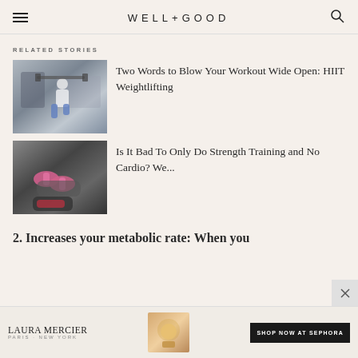WELL+GOOD
RELATED STORIES
[Figure (photo): Person doing a lunge with a barbell overhead in a gym setting]
Two Words to Blow Your Workout Wide Open: HIIT Weightlifting
[Figure (photo): Hands holding pink dumbbells with athletic shoes visible below]
Is It Bad To Only Do Strength Training and No Cardio? We...
2. Increases your metabolic rate: When you
[Figure (other): Laura Mercier advertisement banner with product image and Shop Now at Sephora button]